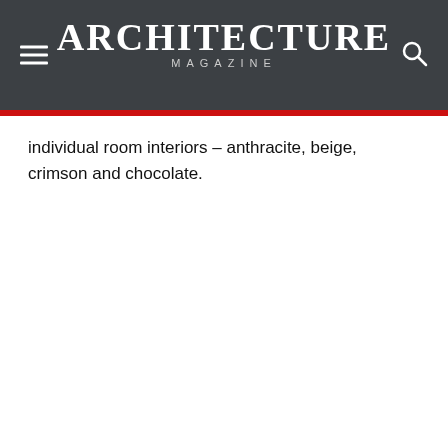ARCHITECTURE MAGAZINE
individual room interiors – anthracite, beige, crimson and chocolate.